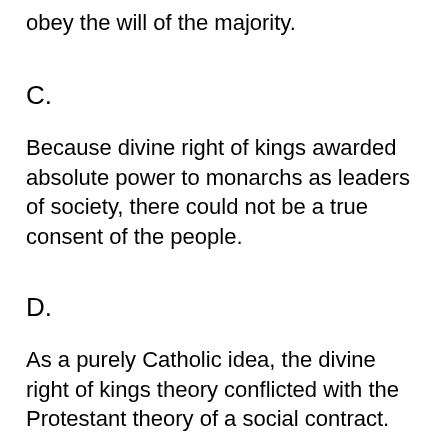obey the will of the majority.
C.
Because divine right of kings awarded absolute power to monarchs as leaders of society, there could not be a true consent of the people.
D.
As a purely Catholic idea, the divine right of kings theory conflicted with the Protestant theory of a social contract.